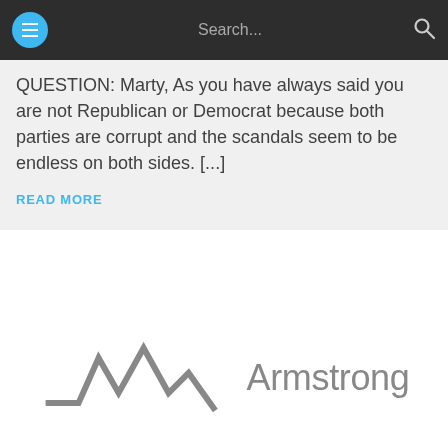Search...
QUESTION: Marty, As you have always said you are not Republican or Democrat because both parties are corrupt and the scandals seem to be endless on both sides. [...]
READ MORE
2016 U.S. PRESIDENTIAL ELECTION
[Figure (logo): Armstrong Economics logo: stylized zigzag line resembling a waveform or heartbeat trace in gray, followed by the word 'Armstrong' in gray sans-serif text]